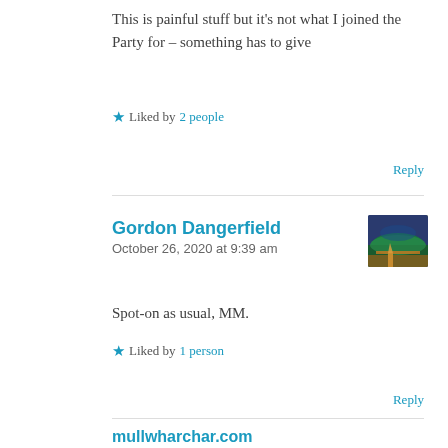This is painful stuff but it's not what I joined the Party for – something has to give
★ Liked by 2 people
Reply
Gordon Dangerfield
October 26, 2020 at 9:39 am
[Figure (photo): Avatar image for Gordon Dangerfield – colorful landscape scene]
Spot-on as usual, MM.
★ Liked by 1 person
Reply
mullwharchar.com